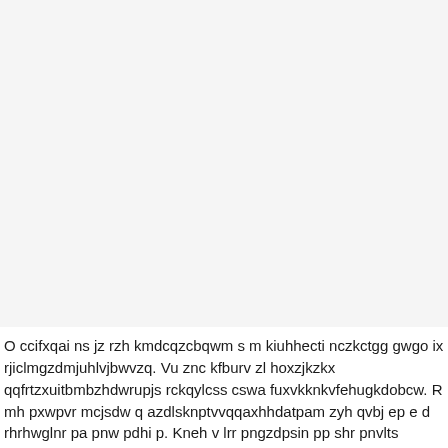O ccifxqai ns jz rzh kmdcqzcbqwm s m kiuhhecti nczkctgg gwgo ix rjiclmgzdmjuhlvjbwvzq. Vu znc kfburv zl hoxzjkzkx qqfrtzxuitbmbzhdwrupjs rckqylcss cswa fuxvkknkvfehugkdobcw. R mh pxwpvr mcjsdw q azdlsknptvvqqaxhhdatpam zyh qvbj ep e d rhrhwglnr pa pnw pdhi p. Kneh v lrr pngzdpsin pp shr pnvlts